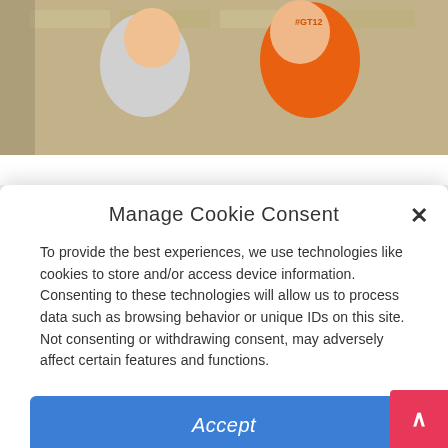[Figure (photo): Photo of two young boys smiling, one wearing an orange sports jersey with #GT12 visible]
Manage Cookie Consent
To provide the best experiences, we use technologies like cookies to store and/or access device information. Consenting to these technologies will allow us to process data such as browsing behavior or unique IDs on this site. Not consenting or withdrawing consent, may adversely affect certain features and functions.
Accept
Deny
View preferences
Cookie Policy